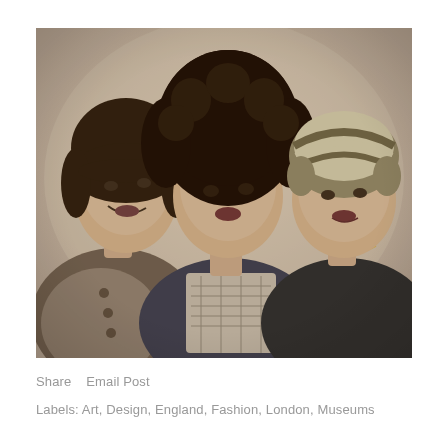[Figure (photo): Black and white vintage photograph of three women posing together. The woman on the left has a dark bob haircut and is wearing a coat with large buttons. The woman in the center has a large curly afro hairstyle and is wearing a patterned blouse. The woman on the right has a striped close-fitting hat and is wearing a dark dress with a necklace. The photo appears to be from the 1920s era.]
Share    Email Post
Labels: Art, Design, England, Fashion, London, Museums